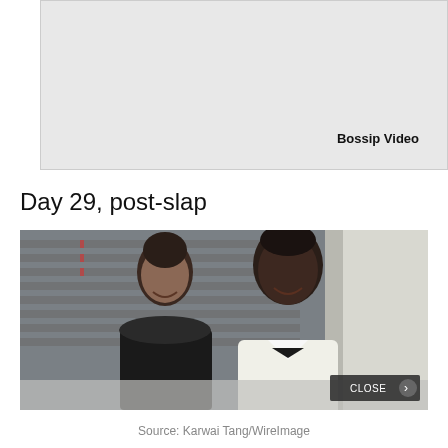[Figure (other): Video placeholder area with Bossip Video label in top right]
Day 29, post-slap
[Figure (photo): Two people posing together at a formal event. A woman in a black lace dress on the left and a man in a white tuxedo with black bow tie on the right. Staircase with horizontal slat railings visible in background.]
Source: Karwai Tang/WireImage